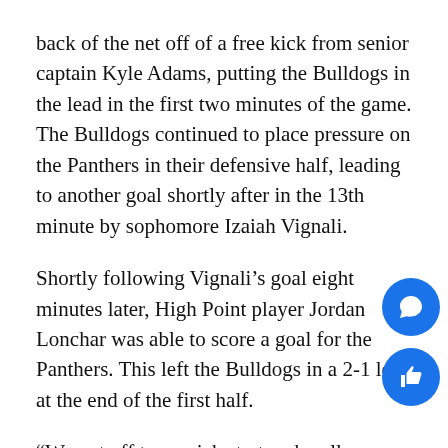back of the net off of a free kick from senior captain Kyle Adams, putting the Bulldogs in the lead in the first two minutes of the game. The Bulldogs continued to place pressure on the Panthers in their defensive half, leading to another goal shortly after in the 13th minute by sophomore Izaiah Vignali.
Shortly following Vignali’s goal eight minutes later, High Point player Jordan Lonchar was able to score a goal for the Panthers. This left the Bulldogs in a 2-1 lead at the end of the first half.
“We got off to a quick start and really dictated the game in the first half,” said Rossetti. “That really helped our momentum.”
The second half of the game began with a goal no even a minute in by High Point player Alex Abril,